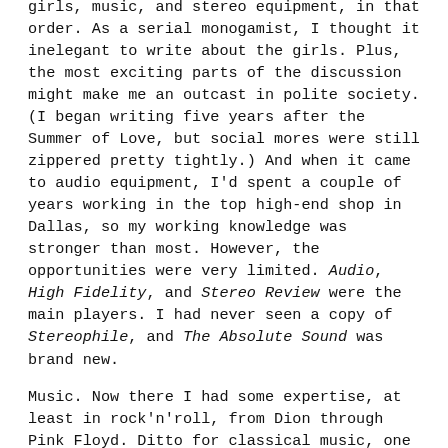girls, music, and stereo equipment, in that order. As a serial monogamist, I thought it inelegant to write about the girls. Plus, the most exciting parts of the discussion might make me an outcast in polite society. (I began writing five years after the Summer of Love, but social mores were still zippered pretty tightly.) And when it came to audio equipment, I'd spent a couple of years working in the top high-end shop in Dallas, so my working knowledge was stronger than most. However, the opportunities were very limited. Audio, High Fidelity, and Stereo Review were the main players. I had never seen a copy of Stereophile, and The Absolute Sound was brand new.
Music. Now there I had some expertise, at least in rock'n'roll, from Dion through Pink Floyd. Ditto for classical music, one of the areas of my major. So music it was.
But I was newly married to the best and last subject of my exercise in serial monogamy, and had to make more money than most music journalists do. Even today, any music writer pulling in over $1000 a